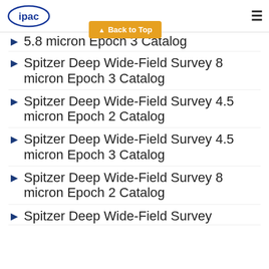ipac [logo] [hamburger menu]
5.8 micron Epoch 3 Catalog
Spitzer Deep Wide-Field Survey 8 micron Epoch 3 Catalog
Spitzer Deep Wide-Field Survey 4.5 micron Epoch 2 Catalog
Spitzer Deep Wide-Field Survey 4.5 micron Epoch 3 Catalog
Spitzer Deep Wide-Field Survey 8 micron Epoch 2 Catalog
Spitzer Deep Wide-Field Survey 3 micron Epoch 1 Catalog